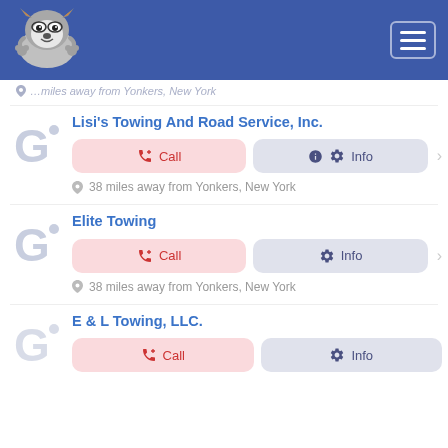[Figure (screenshot): App header with raccoon/fox mascot logo on blue background and hamburger menu icon]
…miles away from Yonkers, New York
Lisi's Towing And Road Service, Inc.
Call | Info
38 miles away from Yonkers, New York
Elite Towing
Call | Info
38 miles away from Yonkers, New York
E & L Towing, LLC.
Call | Info (partial)